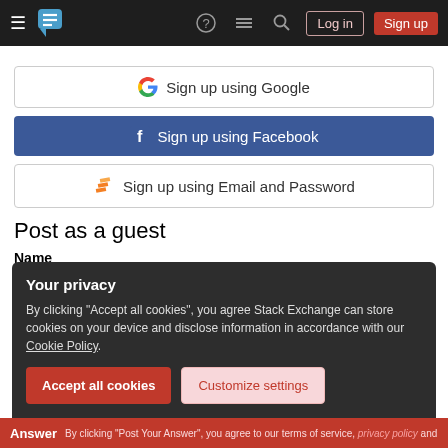Stack Exchange navigation bar with Log in and Sign up buttons
Sign up using Google
Sign up using Facebook
Sign up using Email and Password
Post as a guest
Name
Your privacy
By clicking "Accept all cookies", you agree Stack Exchange can store cookies on your device and disclose information in accordance with our Cookie Policy.
Accept all cookies
Customize settings
Answer  By clicking "Post Your Answer", you agree to our terms of service, privacy policy and cookie policy